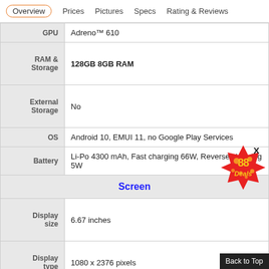Overview | Prices | Pictures | Specs | Rating & Reviews
| Spec | Value |
| --- | --- |
| GPU | Adreno™ 610 |
| RAM & Storage | 128GB 8GB RAM |
| External Storage | No |
| OS | Android 10, EMUI 11, no Google Play Services |
| Battery | Li-Po 4300 mAh, Fast charging 66W, Reverse charging 5W |
| Screen |  |
| Display size | 6.67 inches |
| Display type | 1080 x 2376 pixels |
| Body |  |
[Figure (logo): 88 Deals promotional badge/logo overlay]
Back to Top